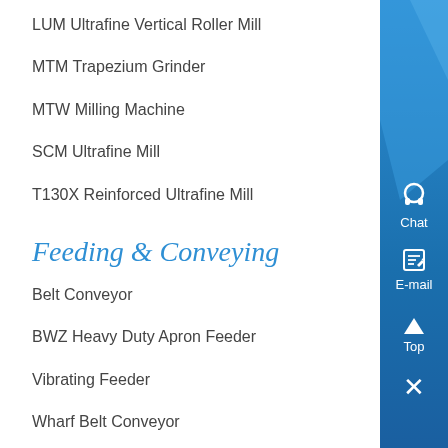LUM Ultrafine Vertical Roller Mill
MTM Trapezium Grinder
MTW Milling Machine
SCM Ultrafine Mill
T130X Reinforced Ultrafine Mill
Feeding & Conveying
Belt Conveyor
BWZ Heavy Duty Apron Feeder
Vibrating Feeder
Wharf Belt Conveyor
Screening & Washing